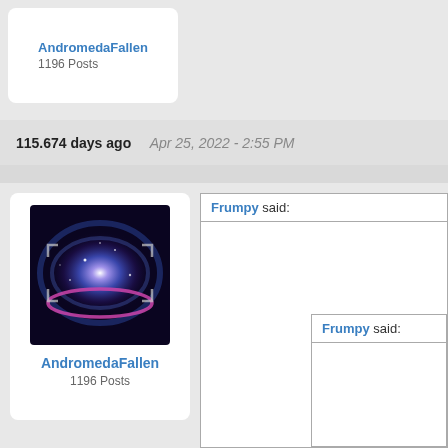AndromedaFallen
1196 Posts
115.674 days ago   Apr 25, 2022 - 2:55 PM
[Figure (photo): Galaxy/nebula avatar image for user AndromedaFallen]
AndromedaFallen
1196 Posts
Frumpy said:
Frumpy said:
Frumpy said:
Frumpy said: